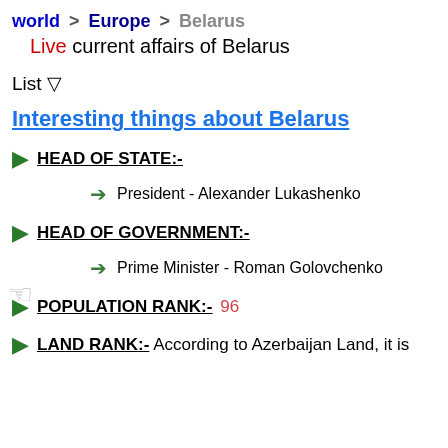world > Europe > Belarus
Live current affairs of Belarus
List ▽
Interesting things about Belarus
HEAD OF STATE:-
President - Alexander Lukashenko
HEAD OF GOVERNMENT:-
Prime Minister - Roman Golovchenko
POPULATION RANK:- 96
LAND RANK:- According to Azerbaijan Land, it is